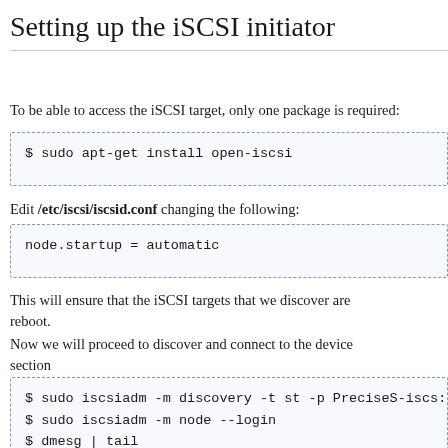Setting up the iSCSI initiator
To be able to access the iSCSI target, only one package is required:
$ sudo apt-get install open-iscsi
Edit /etc/iscsi/iscsid.conf changing the following:
node.startup = automatic
This will ensure that the iSCSI targets that we discover are mounted on reboot.
Now we will proceed to discover and connect to the devices in the next section
$ sudo iscsiadm -m discovery -t st -p PreciseS-iscs:
$ sudo iscsiadm -m node --login
$ dmesg | tail
[   68.461405] iscsid (1458): /proc/1458/oom_adj is
[  189.989399] scsi3 : iSCSI Initiator over TCP/IP